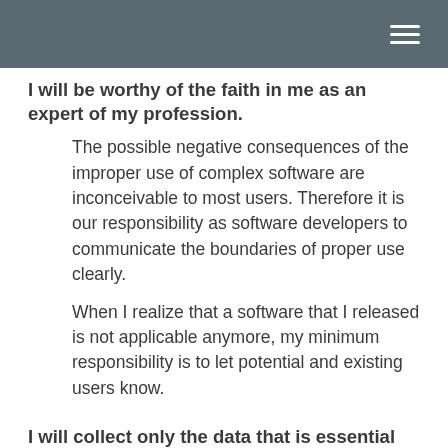I will be worthy of the faith in me as an expert of my profession.
The possible negative consequences of the improper use of complex software are inconceivable to most users. Therefore it is our responsibility as software developers to communicate the boundaries of proper use clearly.
When I realize that a software that I released is not applicable anymore, my minimum responsibility is to let potential and existing users know.
I will collect only the data that is essential for my task. I will store it only as long as needed.
My applications are likely to collect personal information. I will safeguard this, and use it only as the provider of the information intended. I will treat their data as if it were my own.
I will do my very best to prevent the waste of energy